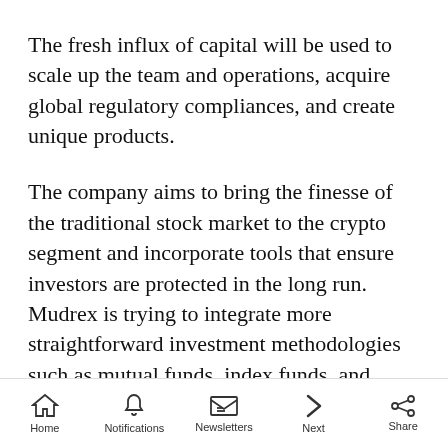The fresh influx of capital will be used to scale up the team and operations, acquire global regulatory compliances, and create unique products.
The company aims to bring the finesse of the traditional stock market to the crypto segment and incorporate tools that ensure investors are protected in the long run. Mudrex is trying to integrate more straightforward investment methodologies such as mutual funds, index funds, and ETFs to encourage systemic investments
Home | Notifications | Newsletters | Next | Share